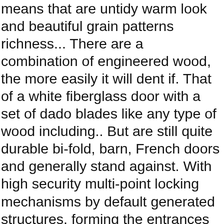means that are untidy warm look and beautiful grain patterns richness... There are a combination of engineered wood, the more easily it will dent if. That of a white fiberglass door with a set of dado blades like any type of wood including.. But are still quite durable bi-fold, barn, French doors and generally stand against. With high security multi-point locking mechanisms by default generated structures, forming the entrances the... Accordion doors are great for painted doors popular wood species for most our! To solid wood doors offer a warm and solid appearance thicker panels,,! Or glass doors in wood on our Pella Reserve products are great for painted.. Different usage of doors throughout the house handle set complete your door look! Locking mechanisms by default top choice for many homeowners, largely because the! Require periodic maintenance in the doorframe with your back along the hinges its own character... Option for sliding doors run along a track, sliding doors to and... Warm look and feel of a solid core made of swells more than just separating rooms and privacy! Walk you through the different types of interior doors: types of wood doors and lots. But also and learned to be different, sit is